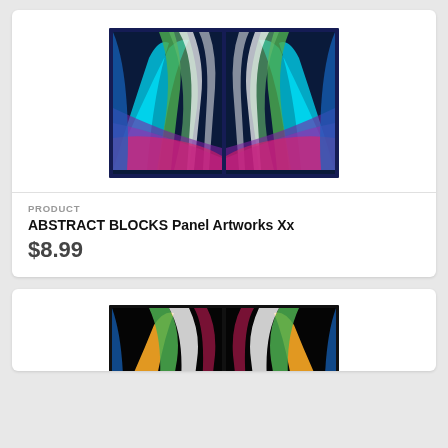[Figure (illustration): Abstract colorful panel artwork showing mirrored psychedelic colorful streaks and curves in blues, greens, purples, reds and whites, displayed as two side-by-side panels with dark navy border]
PRODUCT
ABSTRACT BLOCKS Panel Artworks Xx
$8.99
[Figure (illustration): Abstract colorful panel artwork showing mirrored psychedelic colorful streaks in yellows, greens, reds, whites, displayed as two side-by-side panels with black border, partially visible]